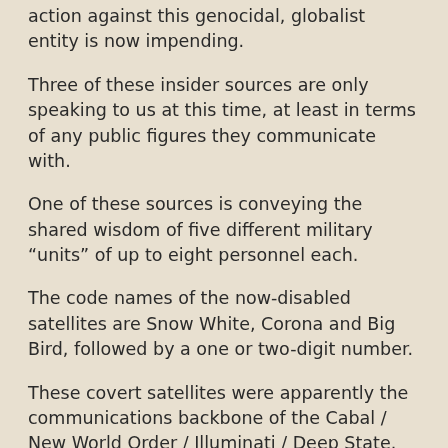action against this genocidal, globalist entity is now impending.
Three of these insider sources are only speaking to us at this time, at least in terms of any public figures they communicate with.
One of these sources is conveying the shared wisdom of five different military “units” of up to eight personnel each.
The code names of the now-disabled satellites are Snow White, Corona and Big Bird, followed by a one or two-digit number.
These covert satellites were apparently the communications backbone of the Cabal / New World Order / Illuminati / Deep State.
This mass shut-down of spy satellites appears to be a move that paves the way for swift actions that the Deep State cannot predict in advance.